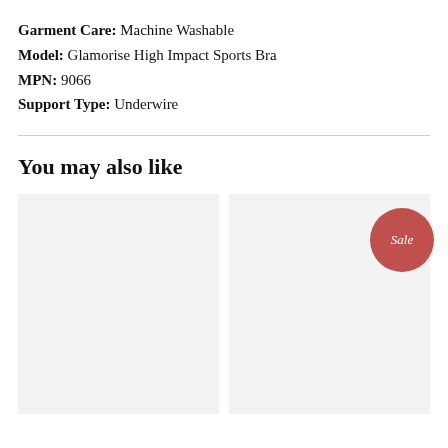Garment Care: Machine Washable
Model: Glamorise High Impact Sports Bra
MPN: 9066
Support Type: Underwire
You may also like
[Figure (photo): Product image placeholder (light gray rectangle)]
[Figure (photo): Product image placeholder (light gray rectangle) with a red Sale badge in the top right corner]